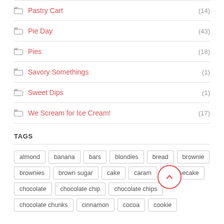Pastry Cart (14)
Pie Day (43)
Pies (18)
Savory Somethings (1)
Sweet Dips (1)
We Scream for Ice Cream! (17)
TAGS
almond banana bars blondies bread brownie brownies brown sugar cake caramel cheesecake chocolate chocolate chip chocolate chips chocolate chunks cinnamon cocoa cookie